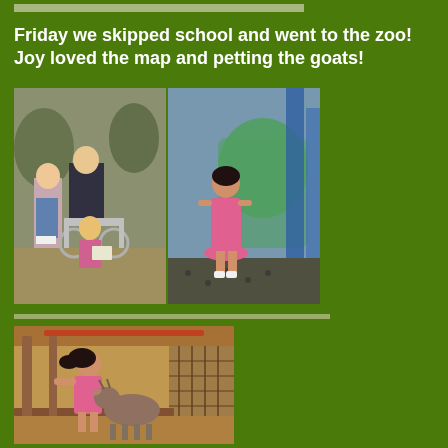[Figure (photo): Top decorative bar strip]
Friday we skipped school and went to the zoo!  Joy loved the map and petting the goats!
[Figure (photo): Two-photo collage: left photo shows two children and a girl in a stroller at the zoo holding a map; right photo shows a girl in a pink dress standing in front of a playground structure]
[Figure (photo): Photo of a girl in a pink dress petting a goat at the zoo petting area]